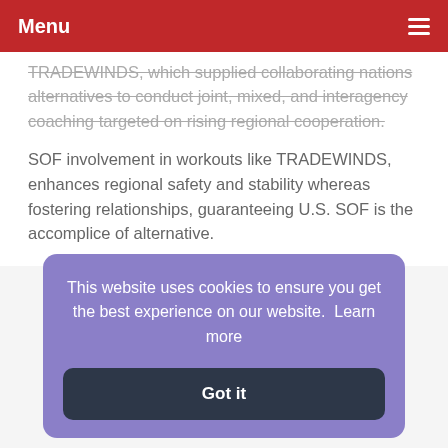Menu
TRADEWINDS, which supplied collaborating nations alternatives to conduct joint, mixed, and interagency coaching targeted on rising regional cooperation.
SOF involvement in workouts like TRADEWINDS, enhances regional safety and stability whereas fostering relationships, guaranteeing U.S. SOF is the accomplice of alternative.
This website uses cookies to ensure you get the best experience on our website.  Learn more
Got it